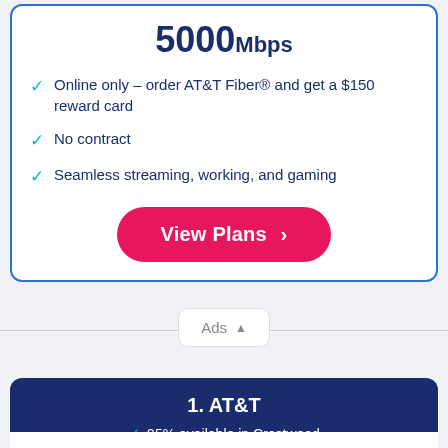5000Mbps
Online only – order AT&T Fiber® and get a $150 reward card
No contract
Seamless streaming, working, and gaming
View Plans
Ads
1. AT&T
95% available in Crestwood